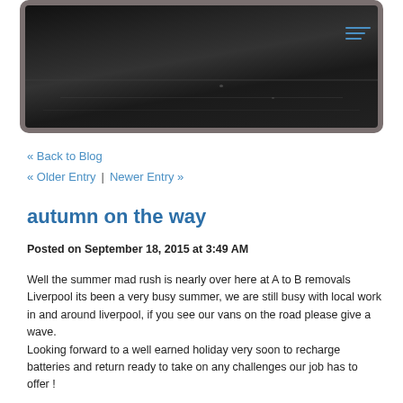[Figure (photo): A dark road/asphalt surface photographed from above, showing the road with a vehicle wheel visible at the top, displayed inside a tablet/device frame with a gray border. A hamburger menu icon appears in the top-right of the device screen.]
« Back to Blog
« Older Entry   |   Newer Entry »
autumn on the way
Posted on September 18, 2015 at 3:49 AM
Well the summer mad rush is nearly over here at A to B removals Liverpool its been a very busy summer, we are still busy with local work in and around liverpool, if you see our vans on the road please give a wave.
Looking forward to a well earned holiday very soon to recharge batteries and return ready to take on any challenges our job has to offer !